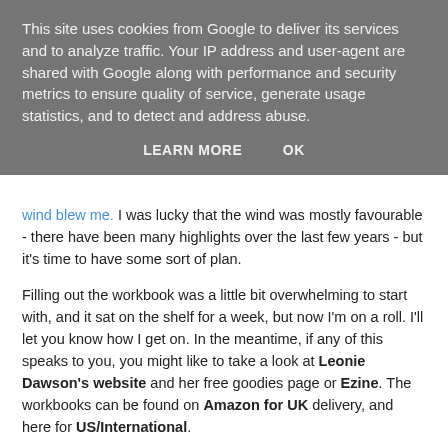This site uses cookies from Google to deliver its services and to analyze traffic. Your IP address and user-agent are shared with Google along with performance and security metrics to ensure quality of service, generate usage statistics, and to detect and address abuse.
LEARN MORE   OK
wind blew me. I was lucky that the wind was mostly favourable - there have been many highlights over the last few years - but it's time to have some sort of plan.
Filling out the workbook was a little bit overwhelming to start with, and it sat on the shelf for a week, but now I'm on a roll. I'll let you know how I get on. In the meantime, if any of this speaks to you, you might like to take a look at Leonie Dawson's website and her free goodies page or Ezine. The workbooks can be found on Amazon for UK delivery, and here for US/International.
If you're already using the Workbooks, leave a comment and let me know what you think - which are the bits that inspire you?